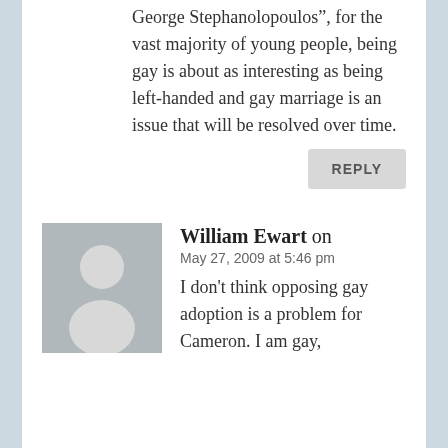George Stephanolopoulos", for the vast majority of young people, being gay is about as interesting as being left-handed and gay marriage is an issue that will be resolved over time.
REPLY
William Ewart on
May 27, 2009 at 5:46 pm
I don't think opposing gay adoption is a problem for Cameron. I am gay,